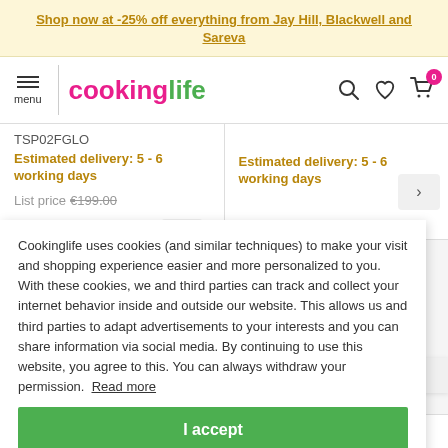Shop now at -25% off everything from Jay Hill, Blackwell and Sareva
cookinglife — menu, search, wishlist, cart (0)
TSP02FGLO
Estimated delivery: 5 - 6 working days
List price €199.00
Estimated delivery: 5 - 6 working days
Cookinglife uses cookies (and similar techniques) to make your visit and shopping experience easier and more personalized to you. With these cookies, we and third parties can track and collect your internet behavior inside and outside our website. This allows us and third parties to adapt advertisements to your interests and you can share information via social media. By continuing to use this website, you agree to this. You can always withdraw your permission. Read more
I accept
part of EG n
to top
Bagel. Additionally, the SMEG Toaster is adjustable to 6